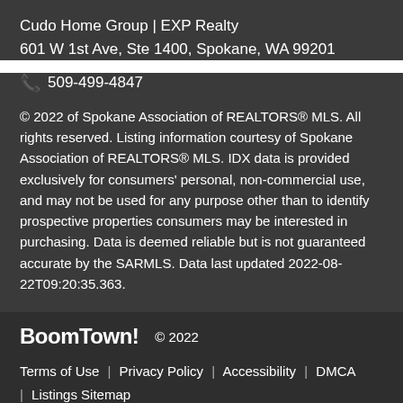Cudo Home Group | EXP Realty
601 W 1st Ave, Ste 1400, Spokane, WA 99201
📞 509-499-4847
© 2022 of Spokane Association of REALTORS® MLS. All rights reserved. Listing information courtesy of Spokane Association of REALTORS® MLS. IDX data is provided exclusively for consumers' personal, non-commercial use, and may not be used for any purpose other than to identify prospective properties consumers may be interested in purchasing. Data is deemed reliable but is not guaranteed accurate by the SARMLS. Data last updated 2022-08-22T09:20:35.363.
BoomTown! © 2022
Terms of Use | Privacy Policy | Accessibility | DMCA | Listings Sitemap
Take a Tour
Ask A Question